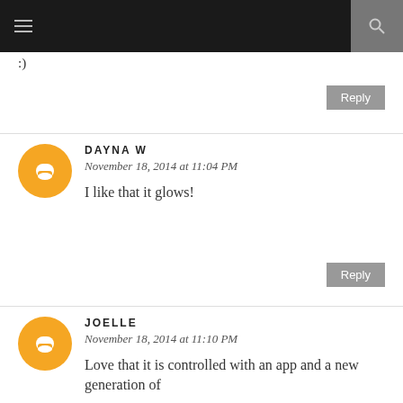:)
Reply
DAYNA W
November 18, 2014 at 11:04 PM
I like that it glows!
Reply
JOELLE
November 18, 2014 at 11:10 PM
Love that it is controlled with an app and a new generation of